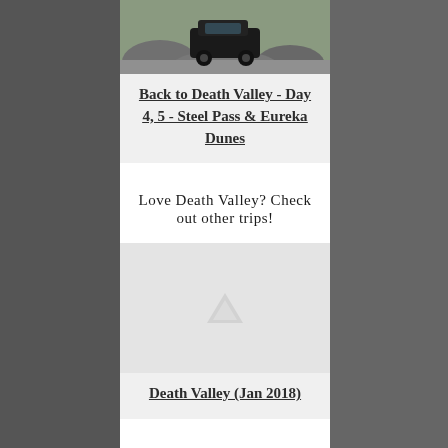[Figure (photo): Photo of SUV/truck on rocky terrain with boulders, desert/mountain setting]
Back to Death Valley - Day 4, 5 - Steel Pass & Eureka Dunes
Love Death Valley? Check out other trips!
[Figure (photo): Placeholder/loading image for Death Valley Jan 2018 trip]
Death Valley (Jan 2018)